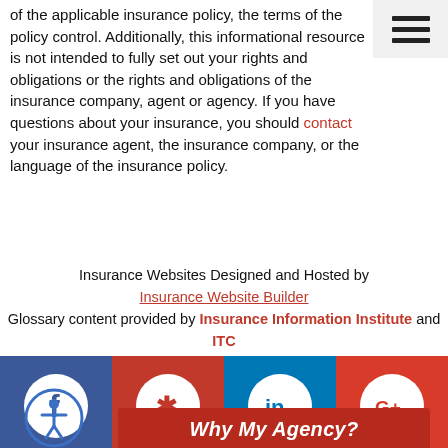of the applicable insurance policy, the terms of the policy control. Additionally, this informational resource is not intended to fully set out your rights and obligations or the rights and obligations of the insurance company, agent or agency. If you have questions about your insurance, you should contact your insurance agent, the insurance company, or the language of the insurance policy.
Insurance Websites Designed and Hosted by Insurance Website Builder
Glossary content provided by Insurance Information Institute and ITC
[Figure (infographic): Social media icon bar with four sections: Facebook (blue), Yelp (red), LinkedIn (blue), Google+ (red), each with a white circular icon.]
[Figure (infographic): Accessibility icon (person in circle) on grey background, and a red banner reading 'Why My Agency?' partially visible at bottom.]